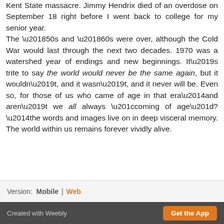Kent State massacre. Jimmy Hendrix died of an overdose on September 18 right before I went back to college for my senior year. The ’50s and ’60s were over, although the Cold War would last through the next two decades. 1970 was a watershed year of endings and new beginnings. It’s trite to say the world would never be the same again, but it wouldn’t, and it wasn’t, and it never will be. Even so, for those of us who came of age in that era—and aren’t we all always “coming of age”?—the words and images live on in deep visceral memory. The world within us remains forever vividly alive.
Version: Mobile | Web
Created with Weebly   Get the App